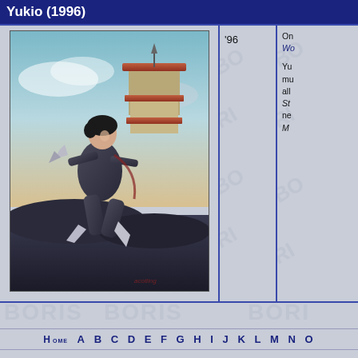Yukio (1996)
[Figure (illustration): Fantasy illustration of Yukio, a female ninja character in a dark bodysuit, posed dynamically with bladed weapons against a backdrop of a Japanese pagoda and cloudy sky]
'96
On... Wo... Yukio mu... all... St... ne... M...
Home A B C D E F G H I J K L M N O